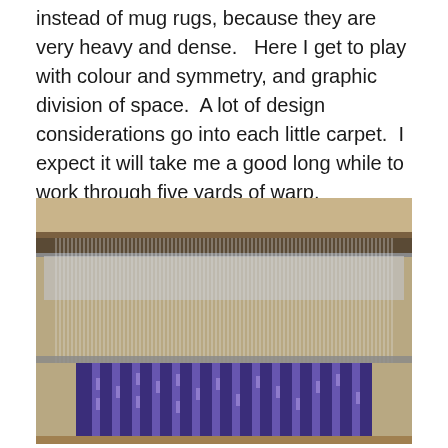instead of mug rugs, because they are very heavy and dense.   Here I get to play with colour and symmetry, and graphic division of space.  A lot of design considerations go into each little carpet.  I expect it will take me a good long while to work through five yards of warp.
[Figure (photo): Close-up photograph of a weaving loom showing warp threads fed through a reed/heddle, with a partially completed purple and blue carpet/rug piece visible at the bottom of the loom.]